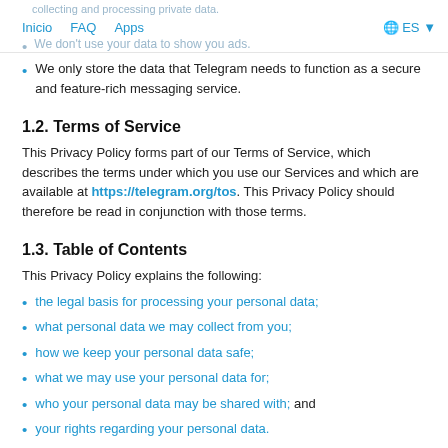collecting and processing private data. Inicio  FAQ  Apps  ES
We don't use your data to show you ads.
We only store the data that Telegram needs to function as a secure and feature-rich messaging service.
1.2. Terms of Service
This Privacy Policy forms part of our Terms of Service, which describes the terms under which you use our Services and which are available at https://telegram.org/tos. This Privacy Policy should therefore be read in conjunction with those terms.
1.3. Table of Contents
This Privacy Policy explains the following:
the legal basis for processing your personal data;
what personal data we may collect from you;
how we keep your personal data safe;
what we may use your personal data for;
who your personal data may be shared with; and
your rights regarding your personal data.